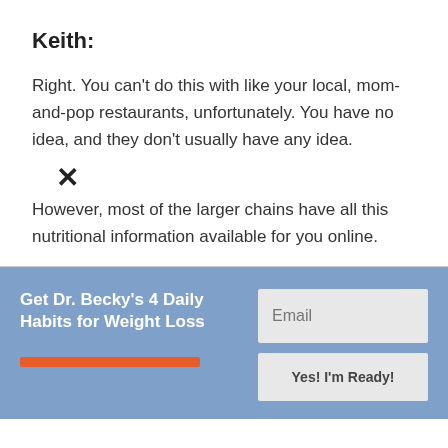Keith:
Right. You can't do this with like your local, mom-and-pop restaurants, unfortunately. You have no idea, and they don't usually have any idea.
However, most of the larger chains have all this nutritional information available for you online.
Get Dr. Becky's 4 Daily Habits for Weight Loss
[Figure (other): Email input field and submit button for newsletter signup]